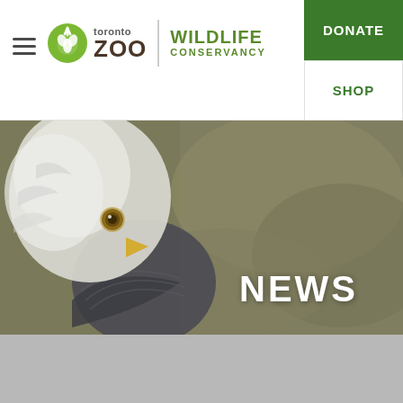[Figure (logo): Toronto Zoo Wildlife Conservancy logo with hamburger menu, green leaf icon, zoo text, divider, and Wildlife Conservancy text in green]
DONATE
SHOP
[Figure (photo): Close-up photo of a bald eagle facing left, with white head feathers and yellow beak visible, against a blurred green-brown background]
NEWS
[Figure (screenshot): Grey placeholder content area below the hero image]